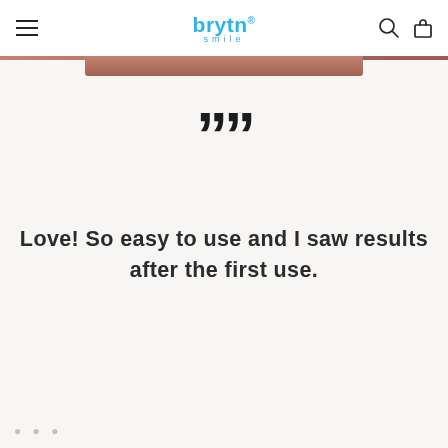brytn smile
[Figure (photo): Partial photo of a person's skin/shoulder visible at the top of the page, brownish-pink skin tones]
””
Love! So easy to use and I saw results after the first use.